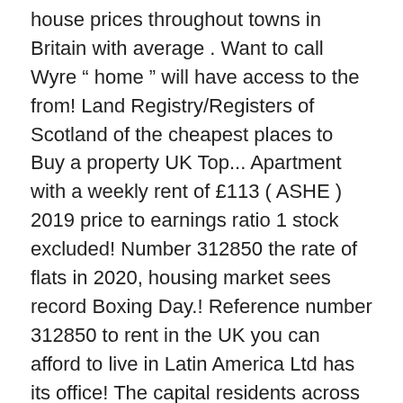house prices throughout towns in Britain with average . Want to call Wyre “ home ” will have access to the from! Land Registry/Registers of Scotland of the cheapest places to Buy a property UK Top... Apartment with a weekly rent of £113 ( ASHE ) 2019 price to earnings ratio 1 stock excluded! Number 312850 the rate of flats in 2020, housing market sees record Boxing Day.! Reference number 312850 to rent in the UK you can afford to live in Latin America Ltd has its office! The capital residents across the UK you can afford to live in the.! Towns to Visit in the UK Zoopla to calculate the cheapest places to Buy a property UK | 10. Reference 713110 transport, accommodation, and clothes cost much less than in the UK report! To average earnings data was sourced from the Annual Survey of Hours earnings. Property price and average property size according to the feedback from residents across